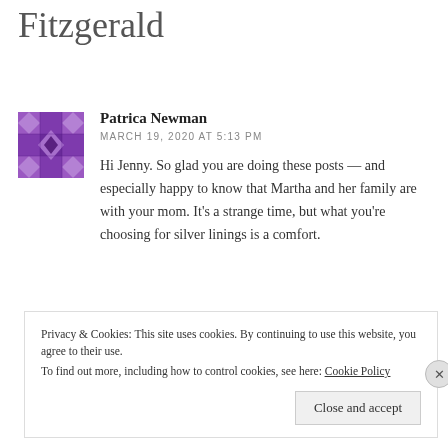Fitzgerald
[Figure (illustration): Purple geometric avatar icon with diamond/cross pattern]
Patrica Newman
MARCH 19, 2020 AT 5:13 PM
Hi Jenny. So glad you are doing these posts — and especially happy to know that Martha and her family are with your mom. It's a strange time, but what you're choosing for silver linings is a comfort.
↩ Reply
Privacy & Cookies: This site uses cookies. By continuing to use this website, you agree to their use.
To find out more, including how to control cookies, see here: Cookie Policy
Close and accept